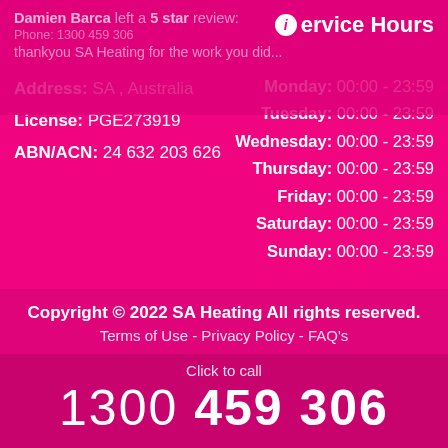Damien Barca left a 5 star review:
thankyou SA Heating for the work you did...
Service Hours
Address: SA , Australia
Tuesday: 00:00 - 23:59
License: PGE273919
Wednesday: 00:00 - 23:59
ABN/ACN: 24 632 203 626
Thursday: 00:00 - 23:59
Friday: 00:00 - 23:59
Saturday: 00:00 - 23:59
Sunday: 00:00 - 23:59
Copyright © 2022 SA Heating All rights reserved.
Terms of Use - Privacy Policy - FAQ's
Click to call
1300 459 306